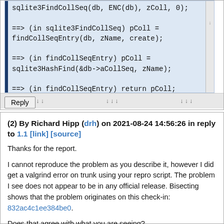[Figure (screenshot): Code block showing SQLite call trace: sqlite3FindCollSeq, findCollSeqEntry, sqlite3HashFind, return pColl]
Reply
(2) By Richard Hipp (drh) on 2021-08-24 14:56:26 in reply to 1.1 [link] [source]
Thanks for the report.
I cannot reproduce the problem as you describe it, however I did get a valgrind error on trunk using your repro script. The problem I see does not appear to be in any official release. Bisecting shows that the problem originates on this check-in: 832ac4c1ee384be0.
Does that agree with what you are seeing?